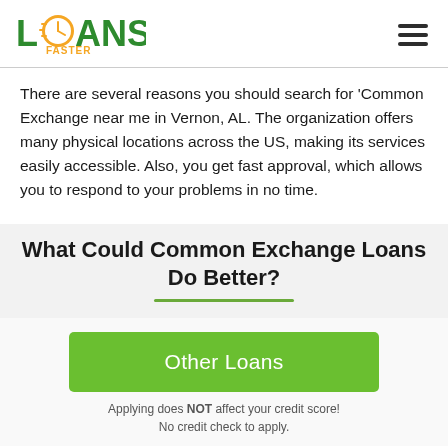[Figure (logo): Loans Faster logo — green bold text 'LOANS' with orange clock icon replacing the O, and 'FASTER' below in smaller orange text]
There are several reasons you should search for 'Common Exchange near me in Vernon, AL. The organization offers many physical locations across the US, making its services easily accessible. Also, you get fast approval, which allows you to respond to your problems in no time.
What Could Common Exchange Loans Do Better?
Other Loans
Applying does NOT affect your credit score! No credit check to apply.